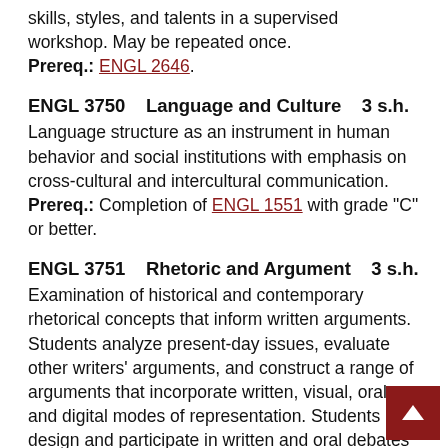skills, styles, and talents in a supervised workshop. May be repeated once.
Prereq.: ENGL 2646.
ENGL 3750    Language and Culture    3 s.h.
Language structure as an instrument in human behavior and social institutions with emphasis on cross-cultural and intercultural communication.
Prereq.: Completion of ENGL 1551 with grade "C" or better.
ENGL 3751    Rhetoric and Argument    3 s.h.
Examination of historical and contemporary rhetorical concepts that inform written arguments. Students analyze present-day issues, evaluate other writers' arguments, and construct a range of arguments that incorporate written, visual, oral, and digital modes of representation. Students design and participate in written and oral debates